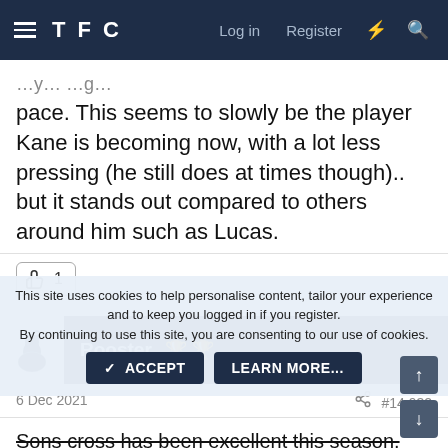TFC — Log in  Register
pace. This seems to slowly be the player Kane is becoming now, with a lot less pressing (he still does at times though).. but it stands out compared to others around him such as Lucas.
👍 1
Rooster 🏆 🏆
6 Dec 2021  #14,932
Sons cross has been excellent this season. Every cross
This site uses cookies to help personalise content, tailor your experience and to keep you logged in if you register.
By continuing to use this site, you are consenting to our use of cookies.
✓ ACCEPT   LEARN MORE...